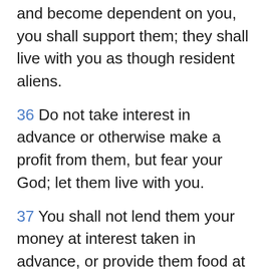and become dependent on you, you shall support them; they shall live with you as though resident aliens.
36 Do not take interest in advance or otherwise make a profit from them, but fear your God; let them live with you.
37 You shall not lend them your money at interest taken in advance, or provide them food at a profit.
Read Chapter
Compare